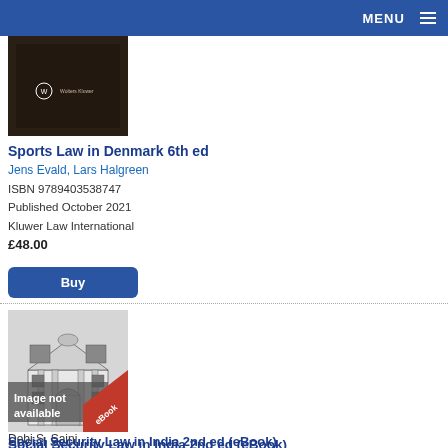MENU
[Figure (photo): Dark brown book cover with Wolters Kluwer logo for Sports Law in Denmark 6th ed]
Sports Law in Denmark 6th ed
Jens Evald, Lars Halgreen
ISBN 9789403538747
Published October 2021
Kluwer Law International
£48.00
[Figure (illustration): Book cover showing an ornate building facade illustration with 'Image not available' overlay and eBook ribbon badge for Social Security Law in India 2nd ed (eBook)]
Social Security Law in India 2nd ed (eBook)
Debi S. Saini